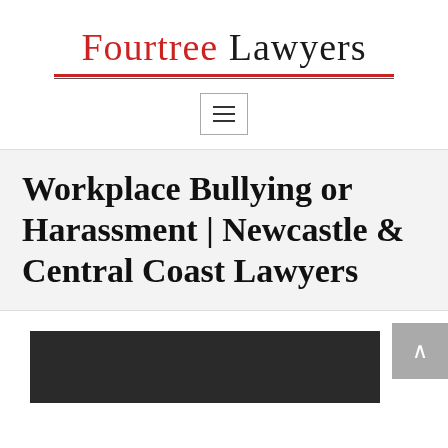[Figure (logo): Fourtree Lawyers logo with red and black text and red/black horizontal lines beneath]
[Figure (other): Hamburger menu button with three horizontal bars inside a bordered box]
Workplace Bullying or Harassment | Newcastle & Central Coast Lawyers
[Figure (photo): Partial dark background photo visible at bottom, with scroll-to-top arrow button at bottom right]